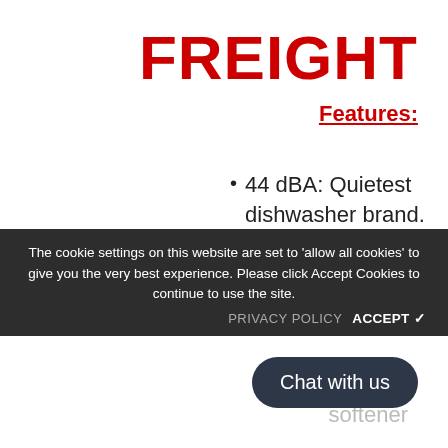FREIGHT
Features:
44 dBA: Quietest dishwasher brand.
3rd rack adds versatility
The cookie settings on this website are set to 'allow all cookies' to give you the very best experience. Please click Accept Cookies to continue to use the site.
PRIVACY POLICY   ACCEPT ✓
Chat with us
softener